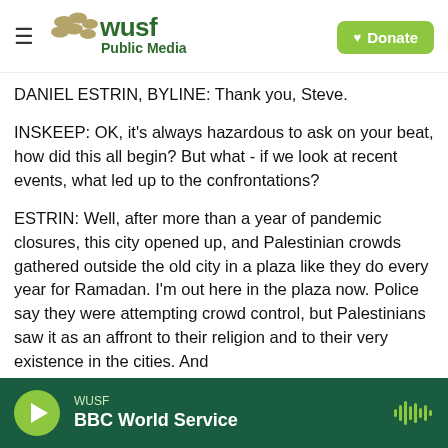WUSF Public Media — Donate
DANIEL ESTRIN, BYLINE: Thank you, Steve.
INSKEEP: OK, it's always hazardous to ask on your beat, how did this all begin? But what - if we look at recent events, what led up to the confrontations?
ESTRIN: Well, after more than a year of pandemic closures, this city opened up, and Palestinian crowds gathered outside the old city in a plaza like they do every year for Ramadan. I'm out here in the plaza now. Police say they were attempting crowd control, but Palestinians saw it as an affront to their religion and to their very existence in the cities. And
WUSF — BBC World Service